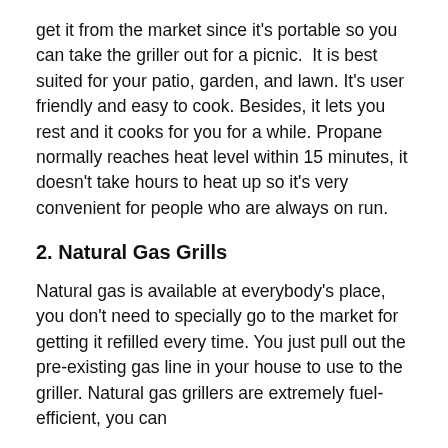get it from the market since it's portable so you can take the griller out for a picnic. It is best suited for your patio, garden, and lawn. It's user friendly and easy to cook. Besides, it lets you rest and it cooks for you for a while. Propane normally reaches heat level within 15 minutes, it doesn't take hours to heat up so it's very convenient for people who are always on run.
2. Natural Gas Grills
Natural gas is available at everybody's place, you don't need to specially go to the market for getting it refilled every time. You just pull out the pre-existing gas line in your house to use to the griller. Natural gas grillers are extremely fuel-efficient, you can